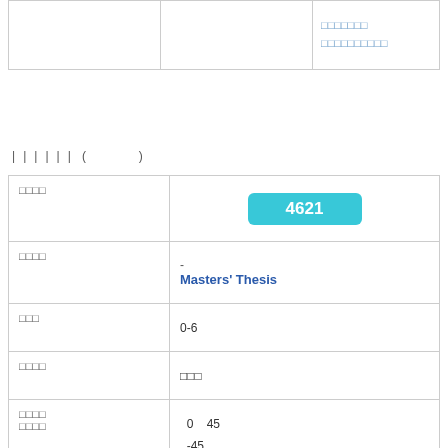|  |  |  |
| --- | --- | --- |
|  |  | □□□□□□□
□□□□□□□□□□ |
| | | | | | ( )
| □□□□ | 4621 |
| □□□□ | -
Masters' Thesis |
| □□□ | 0-6 |
| □□□□ | □□□ |
| □□□□
□□□□ | 0  45
-45 |
| □□ | 68001 |  /  2 |
| □□□□ | 4622 |